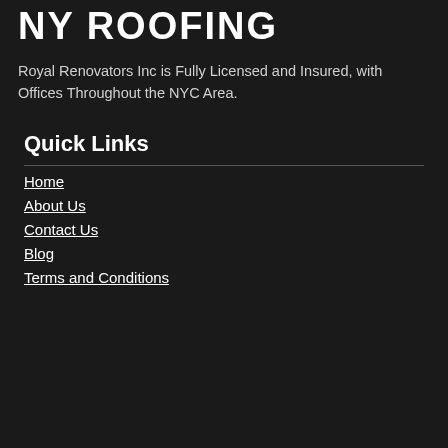NY ROOFING
Royal Renovators Inc is Fully Licensed and Insured, with Offices Throughout the NYC Area.
Quick Links
Home
About Us
Contact Us
Blog
Terms and Conditions